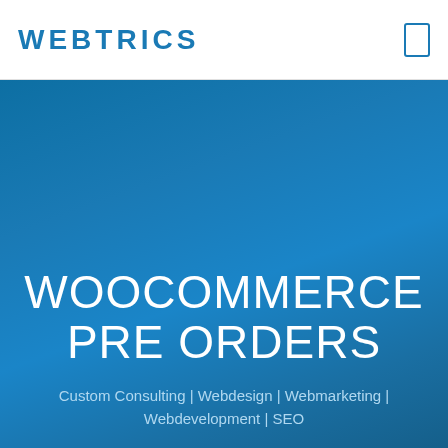WEBTRICS
WOOCOMMERCE PRE ORDERS
Custom Consulting | Webdesign | Webmarketing | Webdevelopment | SEO